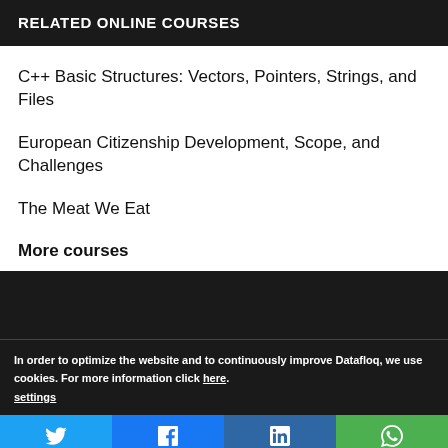RELATED ONLINE COURSES
C++ Basic Structures: Vectors, Pointers, Strings, and Files
European Citizenship Development, Scope, and Challenges
The Meat We Eat
More courses
In order to optimize the website and to continuously improve Datafloq, we use cookies. For more information click here. settings